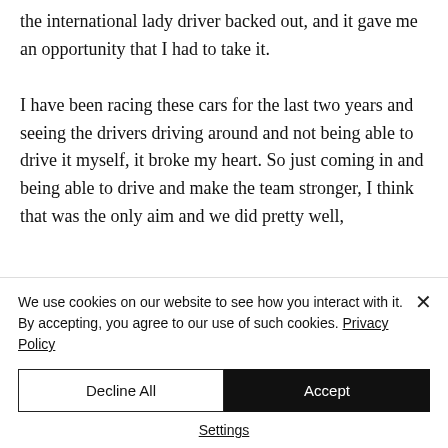the international lady driver backed out, and it gave me an opportunity that I had to take it.

I have been racing these cars for the last two years and seeing the drivers driving around and not being able to drive it myself, it broke my heart. So just coming in and being able to drive and make the team stronger, I think that was the only aim and we did pretty well,
We use cookies on our website to see how you interact with it. By accepting, you agree to our use of such cookies. Privacy Policy
Decline All
Accept
Settings